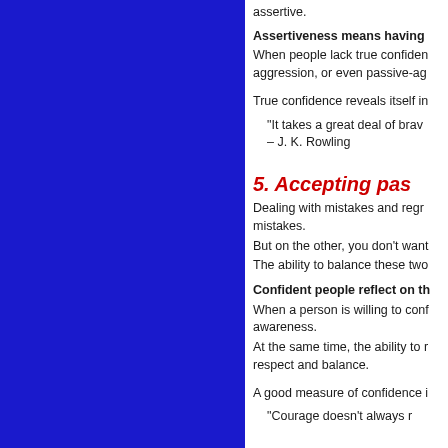assertive.
Assertiveness means having
When people lack true confidence, aggression, or even passive-ag
True confidence reveals itself in
“It takes a great deal of brav – J. K. Rowling
5. Accepting pas
Dealing with mistakes and regre mistakes.
But on the other, you don't want
The ability to balance these two
Confident people reflect on th
When a person is willing to conf awareness.
At the same time, the ability to r respect and balance.
A good measure of confidence i
“Courage doesn’t always r